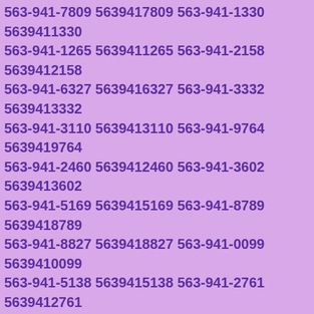563-941-7809 5639417809 563-941-1330 5639411330 563-941-1265 5639411265 563-941-2158 5639412158 563-941-6327 5639416327 563-941-3332 5639413332 563-941-3110 5639413110 563-941-9764 5639419764 563-941-2460 5639412460 563-941-3602 5639413602 563-941-5169 5639415169 563-941-8789 5639418789 563-941-8827 5639418827 563-941-0099 5639410099 563-941-5138 5639415138 563-941-2761 5639412761 563-941-2844 5639412844 563-941-6750 5639416750 563-941-4643 5639414643 563-941-4191 5639414191 563-941-6249 5639416249 563-941-3697 5639413697 563-941-2285 5639412285 563-941-7439 5639417439 563-941-2208 5639412208 563-941-6487 5639416487 563-941-0775 5639410775 563-941-7871 5639417871 563-941-6648 5639416648 563-941-8597 5639418597 563-941-5834 5639415834 563-941-9639 5639419639 563-941-1614 5639411614 563-941-7556 5639417556 563-941-3665 5639413665 563-941-8195 5639418195 563-941-9642 5639419642 563-941-7434 5639417434 563-941-3839 5639413839 563-941-5111 5639415111 563-941-2011 5639412011 563-941-7221 5639417221